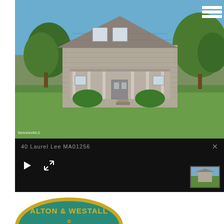[Figure (photo): Exterior photo of a gray shingle Cape Cod style house with green lawn, trees, porch, and blue sky. BerkshireMLS watermark visible in lower left corner.]
40 Laurel Lee MA01256
[Figure (logo): Alton & Westall Agency Real Estate oval logo. Teal/green background with gold text reading ALTON & WESTALL AGENCY with a small decorative leaf emblem, and REAL ESTATE at the bottom. Gold border around oval.]